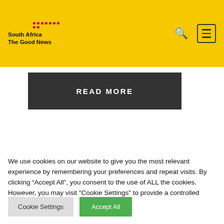South Africa The Good News
READ MORE
[Figure (photo): Street scene with a person viewed from behind, yellow signs and city buildings in background]
We use cookies on our website to give you the most relevant experience by remembering your preferences and repeat visits. By clicking “Accept All”, you consent to the use of ALL the cookies. However, you may visit "Cookie Settings" to provide a controlled consent.
Cookie Settings
Accept All